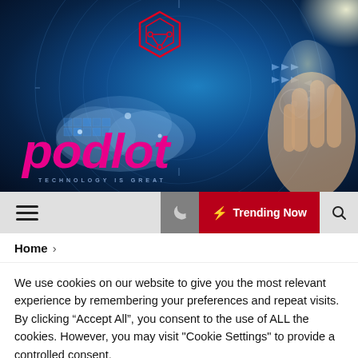[Figure (illustration): Podlot technology website hero banner with blue digital/cloud background, red hexagonal circuit logo icon, large magenta italic 'podlot' wordmark, tagline 'TECHNOLOGY IS GREAT', and a hand holding a glowing device on the right side.]
[Figure (screenshot): Navigation bar with hamburger menu icon on left, dark gray section with moon icon and red 'Trending Now' button with lightning bolt, and search icon on right.]
Home >
We use cookies on our website to give you the most relevant experience by remembering your preferences and repeat visits. By clicking “Accept All”, you consent to the use of ALL the cookies. However, you may visit "Cookie Settings" to provide a controlled consent.